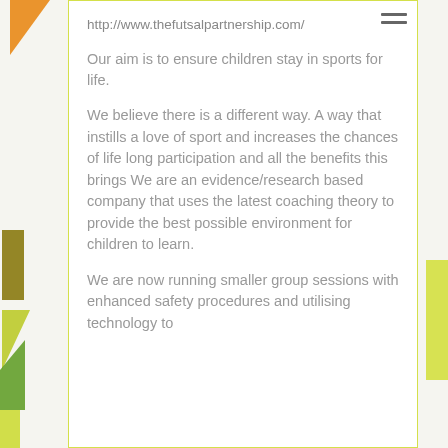http://www.thefutsalpartnership.com/
Our aim is to ensure children stay in sports for life.
We believe there is a different way. A way that instills a love of sport and increases the chances of life long participation and all the benefits this brings We are an evidence/research based company that uses the latest coaching theory to provide the best possible environment for children to learn.
We are now running smaller group sessions with enhanced safety procedures and utilising technology to